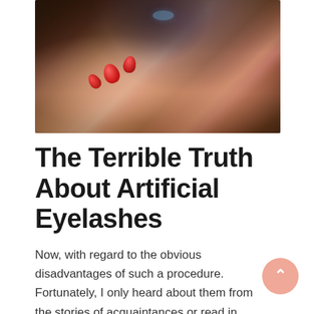[Figure (photo): Close-up photo of a woman's face partially obscured by her hands with red nail polish, dark background with visible blue eye]
The Terrible Truth About Artificial Eyelashes
Now, with regard to the obvious disadvantages of such a procedure. Fortunately, I only heard about them from the stories of acquaintances or read in horror